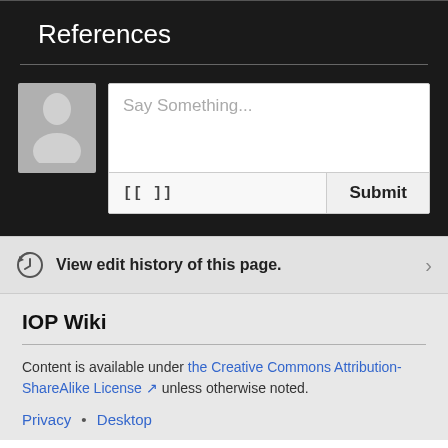References
[Figure (screenshot): Comment input area with avatar placeholder, text field saying 'Say Something...', formatting button [[ ]], and Submit button]
View edit history of this page.
IOP Wiki
Content is available under the Creative Commons Attribution-ShareAlike License unless otherwise noted.
Privacy • Desktop